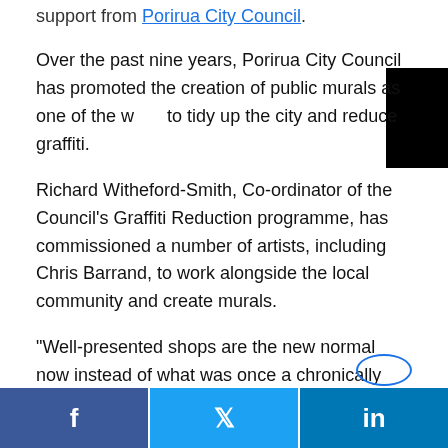support from Porirua City Council.
Over the past nine years, Porirua City Council has promoted the creation of public murals as one of the ways to tidy up the city and reduce graffiti.
Richard Witheford-Smith, Co-ordinator of the Council’s Graffiti Reduction programme, has commissioned a number of artists, including Chris Barrand, to work alongside the local community and create murals.
“Well-presented shops are the new normal now instead of what was once a chronically tagged environment,” he says. “When young people engage in making art they feel a great sense of ownership and pride. There’s been a significant reduction in tagging and Chris’s projects have
[Figure (other): Social share bar with Facebook, Twitter, and LinkedIn buttons at the bottom of the page]